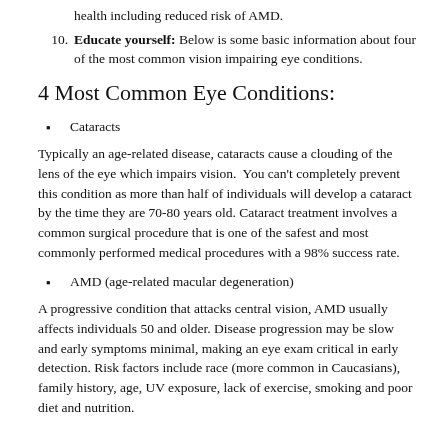health including reduced risk of AMD.
Educate yourself: Below is some basic information about four of the most common vision impairing eye conditions.
4 Most Common Eye Conditions:
Cataracts
Typically an age-related disease, cataracts cause a clouding of the lens of the eye which impairs vision.  You can't completely prevent this condition as more than half of individuals will develop a cataract by the time they are 70-80 years old. Cataract treatment involves a common surgical procedure that is one of the safest and most commonly performed medical procedures with a 98% success rate.
AMD (age-related macular degeneration)
A progressive condition that attacks central vision, AMD usually affects individuals 50 and older. Disease progression may be slow and early symptoms minimal, making an eye exam critical in early detection. Risk factors include race (more common in Caucasians), family history, age, UV exposure, lack of exercise, smoking and poor diet and nutrition.